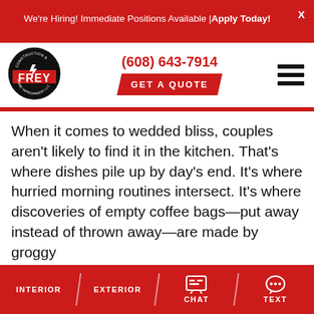We're Hiring! Immediate Positions Available | Apply Today!
[Figure (logo): Frey Construction & Home Improvement LLC circular logo with red and black color scheme]
(608) 643-7914
GET A QUOTE
[Figure (other): Hamburger menu icon with three horizontal bars]
When it comes to wedded bliss, couples aren't likely to find it in the kitchen. That's where dishes pile up by day's end. It's where hurried morning routines intersect. It's where discoveries of empty coffee bags—put away instead of thrown away—are made by groggy
INTERIOR / EXTERIOR / CHAT / TEXT